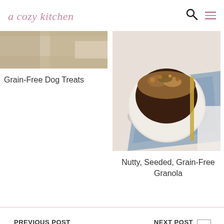a cozy kitchen
[Figure (photo): Partial view of Grain-Free Dog Treats — baked treats on a baking surface with parchment paper]
Grain-Free Dog Treats
[Figure (photo): Bowl of Nutty, Seeded, Grain-Free Granola with chocolate base in a white ceramic bowl on a blue linen cloth with a gold spoon]
Nutty, Seeded, Grain-Free Granola
PREVIOUS POST
Funfetti Brioche Bread
NEXT POST
Brown Butter Orange Madeleines